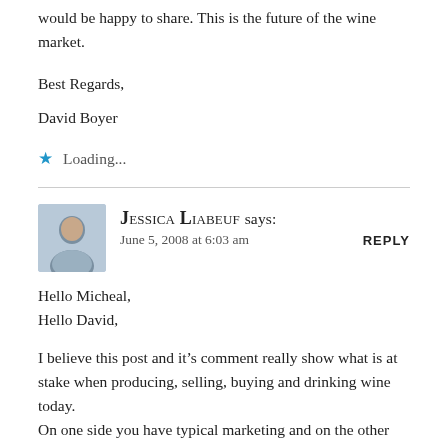would be happy to share. This is the future of the wine market.
Best Regards,
David Boyer
Loading...
Jessica Liabeuf says:
June 5, 2008 at 6:03 am
Hello Micheal,
Hello David,

I believe this post and it’s comment really show what is at stake when producing, selling, buying and drinking wine today.
On one side you have typical marketing and on the other side you have the wine and it’s very rich complexity.
In the middle you have producers who will always need to sell their wine and consumers that will look for the best